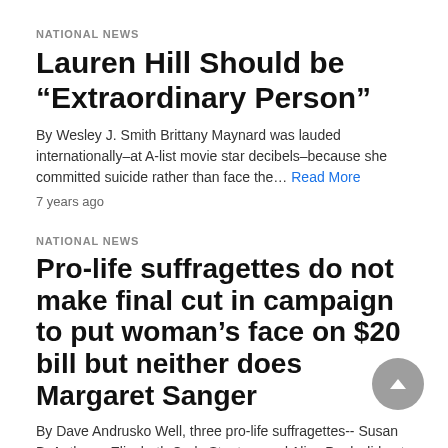NATIONAL NEWS
Lauren Hill Should be “Extraordinary Person”
By Wesley J. Smith Brittany Maynard was lauded internationally–at A-list movie star decibels–because she committed suicide rather than face the… Read More
7 years ago
NATIONAL NEWS
Pro-life suffragettes do not make final cut in campaign to put woman’s face on $20 bill but neither does Margaret Sanger
By Dave Andrusko Well, three pro-life suffragettes-- Susan B. Anthony, Elizabeth Cady Stanton, and Alice Paul--did not make the “final… Read More